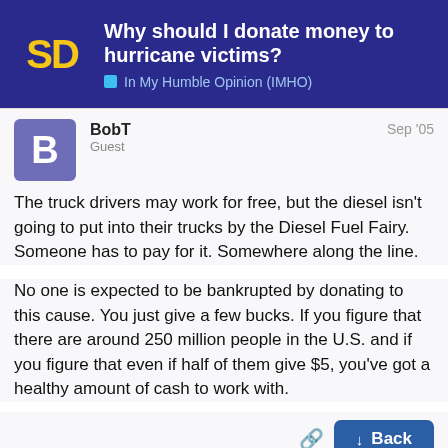Why should I donate money to hurricane victims? | In My Humble Opinion (IMHO)
BobT
Guest
Sep '05
The truck drivers may work for free, but the diesel isn't going to put into their trucks by the Diesel Fuel Fairy. Someone has to pay for it. Somewhere along the line.
No one is expected to be bankrupted by donating to this cause. You just give a few bucks. If you figure that there are around 250 million people in the U.S. and if you figure that even if half of them give $5, you've got a healthy amount of cash to work with.
BobT
Guest
7 / 49